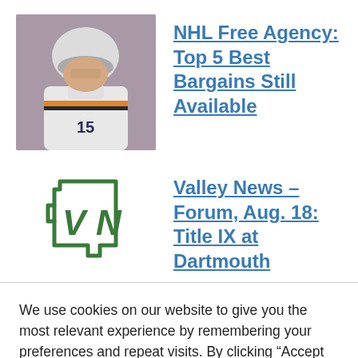[Figure (photo): Hockey player wearing white jersey and helmet]
NHL Free Agency: Top 5 Best Bargains Still Available
[Figure (logo): Valley News logo - outline of New Hampshire state with VN letters]
Valley News – Forum, Aug. 18: Title IX at Dartmouth
We use cookies on our website to give you the most relevant experience by remembering your preferences and repeat visits. By clicking “Accept All”, you consent to the use of ALL the cookies. However, you may visit "Cookie Settings" to provide a controlled consent.